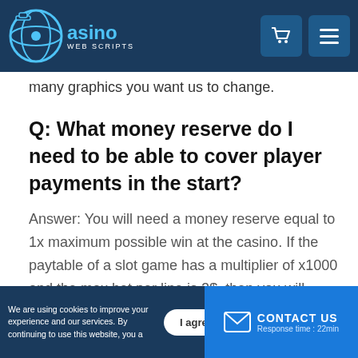Casino Web Scripts
many graphics you want us to change.
Q: What money reserve do I need to be able to cover player payments in the start?
Answer: You will need a money reserve equal to 1x maximum possible win at the casino. If the paytable of a slot game has a multiplier of x1000 and the max bet per line is 2$, then you will need a money
We are using cookies to improve your experience and our services. By continuing to use this website, you agree! | CONTACT US | Response time : 22min